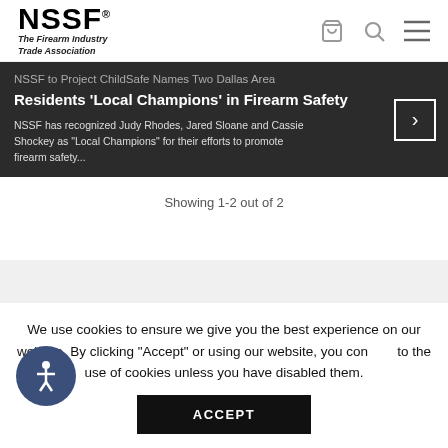NSSF® The Firearm Industry Trade Association
[Figure (screenshot): Dark banner showing article: NSSF to Project ChildSafe Names Two Dallas Area Residents 'Local Champions' in Firearm Safety. Description: NSSF has recognized Judy Rhodes, Jared Sloane and Cassie Shockey as 'Local Champions' for their efforts to promote firearm safety...]
Showing 1-2 out of 2
We use cookies to ensure we give you the best experience on our website. By clicking "Accept" or using our website, you consent to the use of cookies unless you have disabled them.
ACCEPT